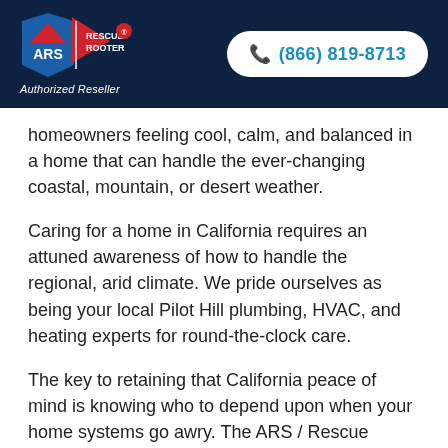[Figure (logo): ARS Rescue Rooter logo with phone number (866) 819-8713 and 'Authorized Reseller' text on dark navy header]
homeowners feeling cool, calm, and balanced in a home that can handle the ever-changing coastal, mountain, or desert weather.
Caring for a home in California requires an attuned awareness of how to handle the regional, arid climate. We pride ourselves as being your local Pilot Hill plumbing, HVAC, and heating experts for round-the-clock care.
The key to retaining that California peace of mind is knowing who to depend upon when your home systems go awry. The ARS / Rescue Rooter team in Pilot Hill manages a vast range of services—from fast emergency assistance to long-term home renovations. We cover a comprehensive list of plumbing, ventilation, water and